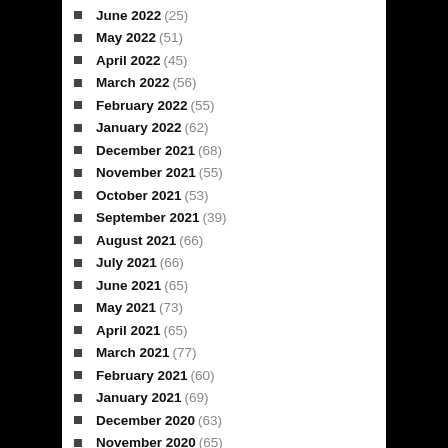June 2022 (25)
May 2022 (51)
April 2022 (45)
March 2022 (56)
February 2022 (55)
January 2022 (62)
December 2021 (68)
November 2021 (55)
October 2021 (53)
September 2021 (39)
August 2021 (66)
July 2021 (66)
June 2021 (65)
May 2021 (73)
April 2021 (65)
March 2021 (77)
February 2021 (60)
January 2021 (69)
December 2020 (63)
November 2020 (65)
October 2020 (58)
September 2020 (32)